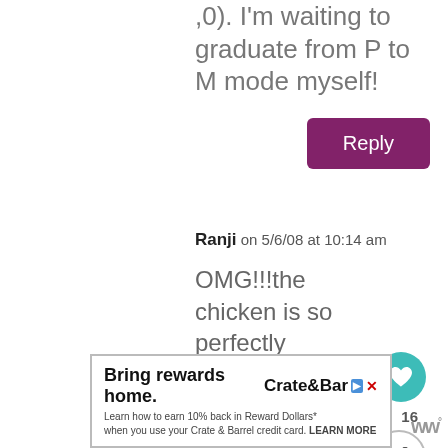,0). I'm waiting to graduate from P to M mode myself!
Reply
Ranji on 5/6/08 at 10:14 am
OMG!!!the chicken is so perfectly carmalised. mouth wateroing delicious,a must try huh!!
16
WHAT'S NEXT → Peking Chicken wit...
Bring rewards home.
Learn how to earn 10% back in Reward Dollars* when you use your Crate & Barrel credit card. LEARN MORE
Crate&Barrel